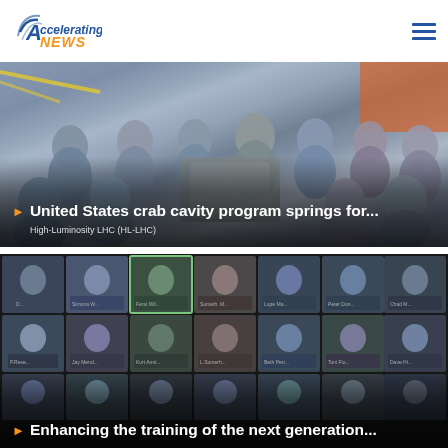[Figure (logo): Accelerating News logo — stylized 'A' with curved lines and 'NEWS' in orange]
[Figure (photo): Group photo of approximately 12 scientists/engineers posing with particle accelerator crab cavity hardware in a laboratory setting]
United States crab cavity program springs for...
High-Luminosity LHC (HL-LHC)
[Figure (photo): Screenshot of a video conference call showing approximately 21 participants in a grid layout, with one participant highlighted with a green border]
Enhancing the training of the next generation...